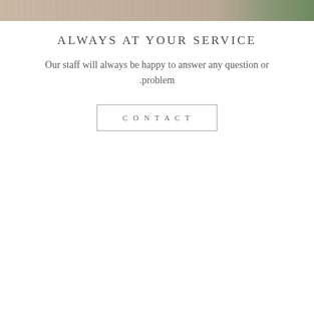[Figure (photo): Top portion of a photo showing a person wearing a light beige/cream ribbed top, with green foliage visible in the background on the right side.]
ALWAYS AT YOUR SERVICE
Our staff will always be happy to answer any question or .problem
CONTACT